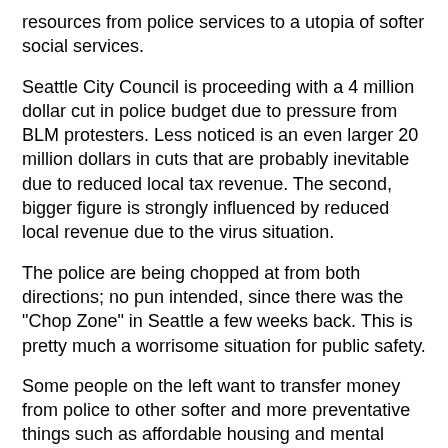resources from police services to a utopia of softer social services.
Seattle City Council is proceeding with a 4 million dollar cut in police budget due to pressure from BLM protesters. Less noticed is an even larger 20 million dollars in cuts that are probably inevitable due to reduced local tax revenue. The second, bigger figure is strongly influenced by reduced local revenue due to the virus situation.
The police are being chopped at from both directions; no pun intended, since there was the "Chop Zone" in Seattle a few weeks back. This is pretty much a worrisome situation for public safety.
Some people on the left want to transfer money from police to other softer and more preventative things such as affordable housing and mental health resources.
Like the phrase an ounce of prevention is worth a pound of cure; cure being calling the police.